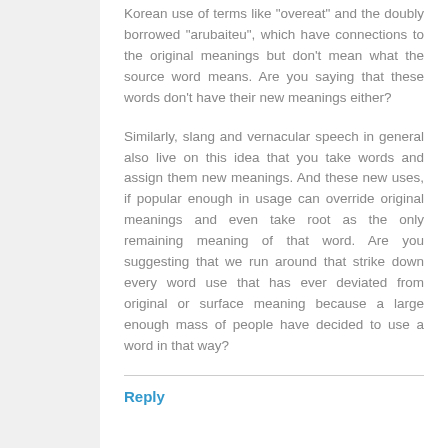Korean use of terms like "overeat" and the doubly borrowed "arubaiteu", which have connections to the original meanings but don't mean what the source word means. Are you saying that these words don't have their new meanings either?
Similarly, slang and vernacular speech in general also live on this idea that you take words and assign them new meanings. And these new uses, if popular enough in usage can override original meanings and even take root as the only remaining meaning of that word. Are you suggesting that we run around that strike down every word use that has ever deviated from original or surface meaning because a large enough mass of people have decided to use a word in that way?
Reply